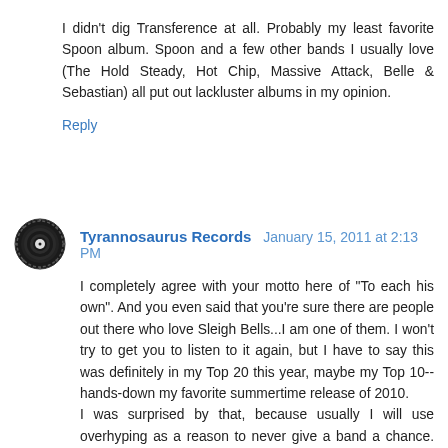I didn't dig Transference at all. Probably my least favorite Spoon album. Spoon and a few other bands I usually love (The Hold Steady, Hot Chip, Massive Attack, Belle & Sebastian) all put out lackluster albums in my opinion.
Reply
Tyrannosaurus Records  January 15, 2011 at 2:13 PM
I completely agree with your motto here of "To each his own". And you even said that you're sure there are people out there who love Sleigh Bells...I am one of them. I won't try to get you to listen to it again, but I have to say this was definitely in my Top 20 this year, maybe my Top 10--hands-down my favorite summertime release of 2010. I was surprised by that, because usually I will use overhyping as a reason to never give a band a chance. But this album is so full of sneering, raucous energy that it was impossible to resist. I think The Go! Team channels something much more retro and community-driven than SB, who are a little more like Crystal Castles working up